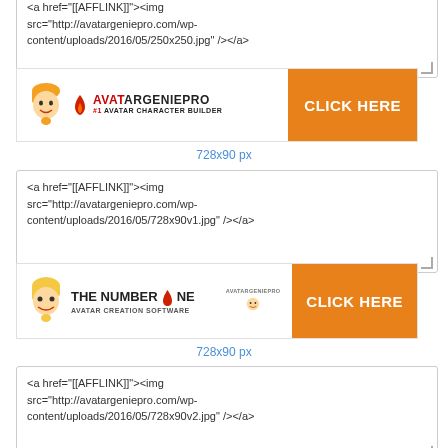<a href="[[AFFLINK]]"><img src="http://avatargeniepro.com/wp-content/uploads/2016/05/250x250.jpg" /></a>
[Figure (screenshot): AvatarGeniePro banner ad 728x90 v1 with avatar character and CLICK HERE button]
728x90 px
<a href="[[AFFLINK]]"><img src="http://avatargeniepro.com/wp-content/uploads/2016/05/728x90v1.jpg" /></a>
[Figure (screenshot): AvatarGeniePro banner ad 728x90 v2 - The Number One Avatar Creation Software with CLICK HERE button]
728x90 px
<a href="[[AFFLINK]]"><img src="http://avatargeniepro.com/wp-content/uploads/2016/05/728x90v2.jpg" /></a>